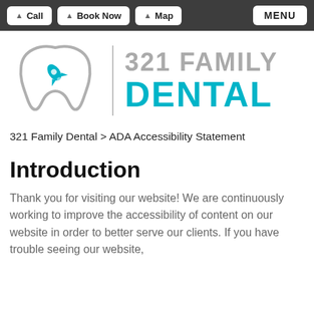Call | Book Now | Map | MENU
[Figure (logo): 321 Family Dental logo with tooth icon and rocket, teal and gray colors]
321 Family Dental > ADA Accessibility Statement
Introduction
Thank you for visiting our website! We are continuously working to improve the accessibility of content on our website in order to better serve our clients. If you have trouble seeing our website,